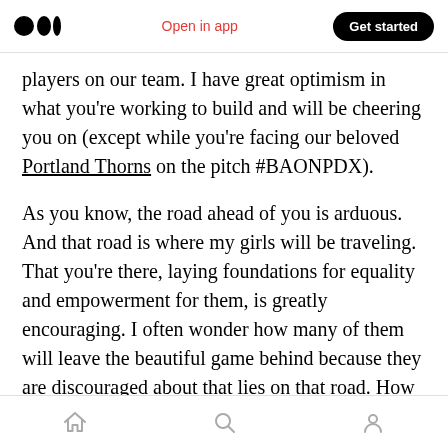Medium logo | Open in app | Get started
players on our team. I have great optimism in what you're working to build and will be cheering you on (except while you're facing our beloved Portland Thorns on the pitch #BAONPDX).
As you know, the road ahead of you is arduous. And that road is where my girls will be traveling. That you're there, laying foundations for equality and empowerment for them, is greatly encouraging. I often wonder how many of them will leave the beautiful game behind because they are discouraged about that lies on that road. How many will be worn down by the misogyny
Home | Search | Profile